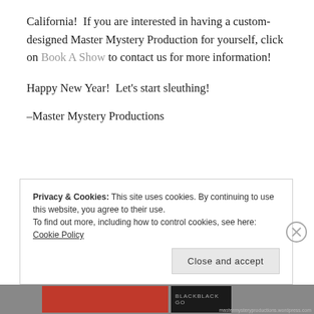California!  If you are interested in having a custom-designed Master Mystery Production for yourself, click on Book A Show to contact us for more information!
Happy New Year!  Let's start sleuthing!
–Master Mystery Productions
Privacy & Cookies: This site uses cookies. By continuing to use this website, you agree to their use.
To find out more, including how to control cookies, see here:
Cookie Policy
Close and accept